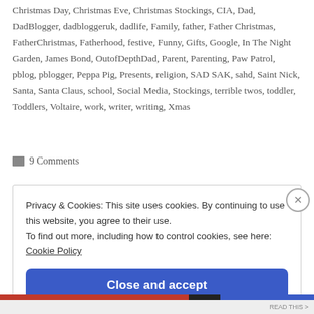Christmas Day, Christmas Eve, Christmas Stockings, CIA, Dad, DadBlogger, dadbloggeruk, dadlife, Family, father, Father Christmas, FatherChristmas, Fatherhood, festive, Funny, Gifts, Google, In The Night Garden, James Bond, OutofDepthDad, Parent, Parenting, Paw Patrol, pblog, pblogger, Peppa Pig, Presents, religion, SAD SAK, sahd, Saint Nick, Santa, Santa Claus, school, Social Media, Stockings, terrible twos, toddler, Toddlers, Voltaire, work, writer, writing, Xmas
9 Comments
Privacy & Cookies: This site uses cookies. By continuing to use this website, you agree to their use. To find out more, including how to control cookies, see here: Cookie Policy
Close and accept